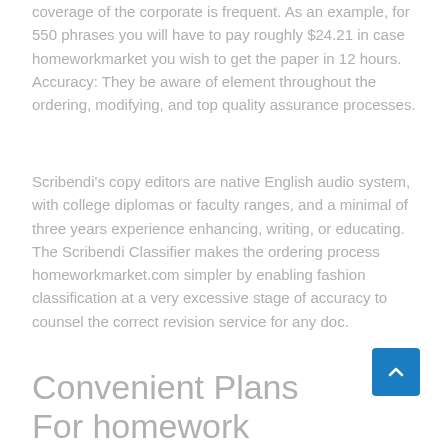coverage of the corporate is frequent. As an example, for 550 phrases you will have to pay roughly $24.21 in case homeworkmarket you wish to get the paper in 12 hours. Accuracy: They be aware of element throughout the ordering, modifying, and top quality assurance processes.
Scribendi's copy editors are native English audio system, with college diplomas or faculty ranges, and a minimal of three years experience enhancing, writing, or educating. The Scribendi Classifier makes the ordering process homeworkmarket.com simpler by enabling fashion classification at a very excessive stage of accuracy to counsel the correct revision service for any doc.
Convenient Plans For homework market